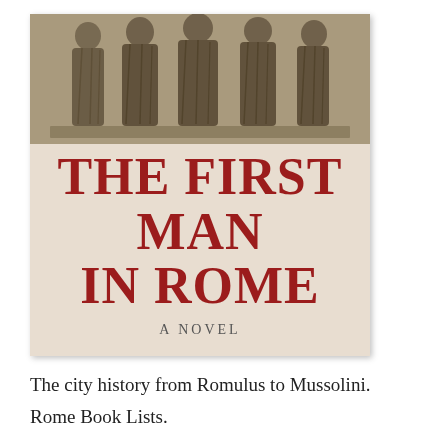[Figure (illustration): Book cover of 'The First Man in Rome' — a novel. Top portion shows a grayscale illustration of several robed Roman figures (togas) standing on a plinth. Below the illustration on a beige/tan background, the title 'THE FIRST MAN IN ROME' is printed in large red serif letters, followed by 'A NOVEL' in smaller dark uppercase letters.]
The city history from Romulus to Mussolini.
Rome Book Lists.